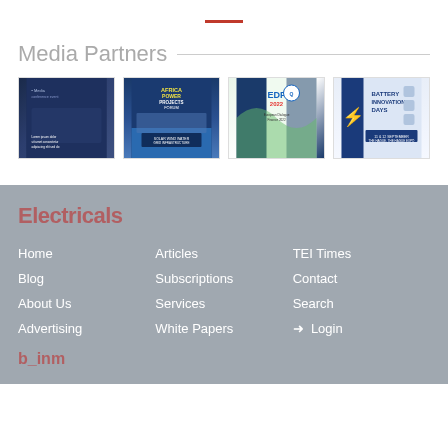Media Partners
[Figure (photo): Four media partner advertisement images shown in a row: (1) dark blue conference/networking event, (2) Africa Power Projects Forum with solar panels, (3) EDF 2022 event, (4) Battery Innovation Days]
[Figure (logo): Partially visible footer logo text in red]
Home
Articles
TEI Times
Blog
Subscriptions
Contact
About Us
Services
Search
Advertising
White Papers
Login